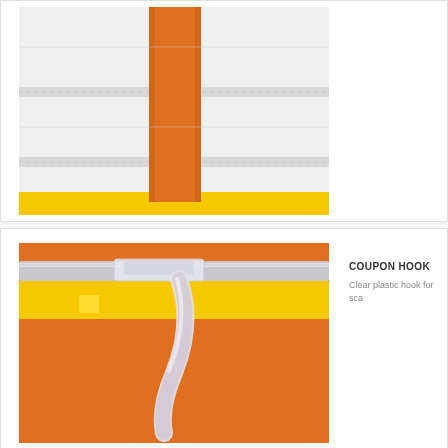[Figure (photo): Close-up photo of an orange shelf divider/separator installed on white retail shelving with yellow price rail at the bottom]
[Figure (photo): Close-up photo of a clear plastic coupon hook clipped onto a yellow and orange retail shelf label holder or channel]
COUPON HOOK
Clear plastic hook for sca